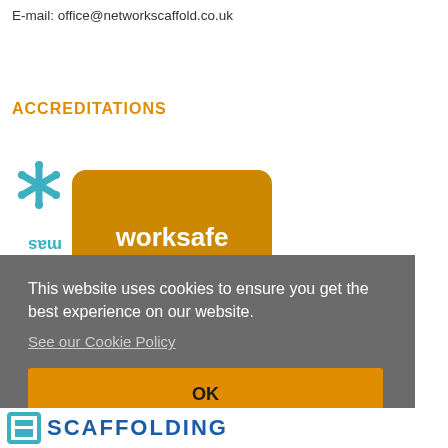E-mail: office@networkscaffold.co.uk
ACCREDITATIONS
[Figure (logo): MAS asterisk logo (teal) and Worksafe Contractor orange rounded rectangle badge with white text]
This website uses cookies to ensure you get the best experience on our website.
See our Cookie Policy
OK
[Figure (logo): CCS Scaffolding logo at bottom — scaffold icon and bold blue text SCAFFOLDING]